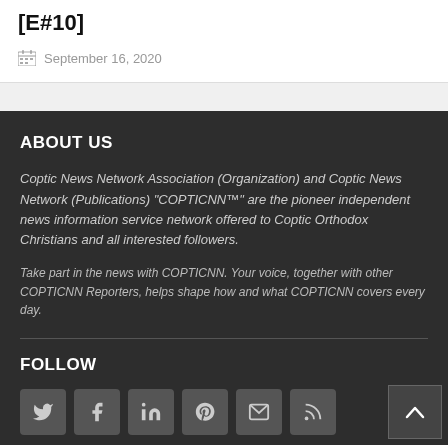[E#10]
September 16, 2020
ABOUT US
Coptic News Network Association (Organization) and Coptic News Network (Publications) “COPTICNN™” are the pioneer independent news information service network offered to Coptic Orthodox Christians and all interested followers.
Take part in the news with COPTICNN. Your voice, together with other COPTICNN Reporters, helps shape how and what COPTICNN covers every day.
FOLLOW
[Figure (other): Social media icon buttons row (partially visible): Twitter, Facebook, LinkedIn, Pinterest, and others]